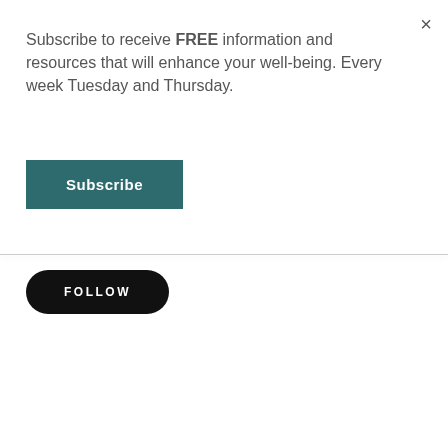×
Subscribe to receive FREE information and resources that will enhance your well-being. Every week Tuesday and Thursday.
Subscribe
FOLLOW